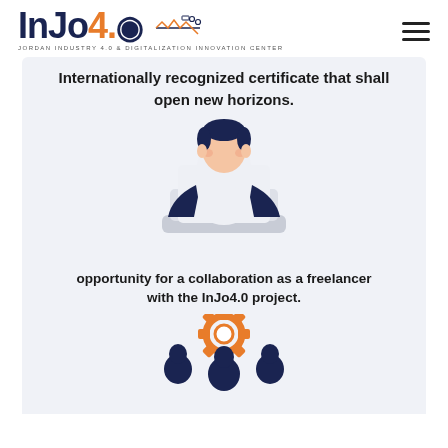INJO4.0 JORDAN INDUSTRY 4.0 & DIGITALIZATION INNOVATION CENTER
Internationally recognized certificate that shall open new horizons.
[Figure (illustration): Flat illustration of a person sitting at a laptop computer, wearing dark blue sleeves, with an orange button/circle on the laptop screen.]
opportunity for a collaboration as a freelancer with the InJo4.0 project.
[Figure (illustration): Flat illustration of three people (team silhouettes in dark blue) with a large orange gear above them, symbolizing teamwork or collaboration.]